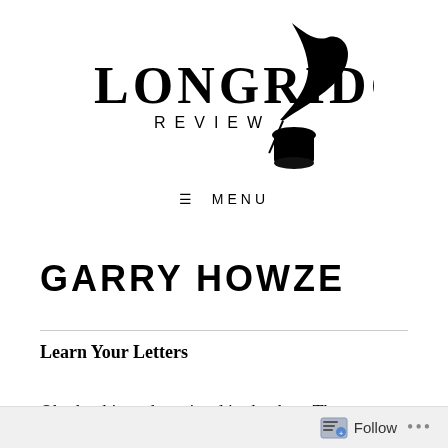[Figure (logo): Longridge Review logo with quill pen and ink pot illustration]
≡ MENU
GARRY HOWZE
Learn Your Letters
Oh, the things that stirred in that boy. There
Follow ...